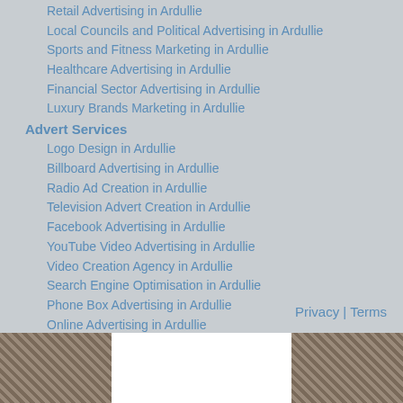Retail Advertising in Ardullie
Local Councils and Political Advertising in Ardullie
Sports and Fitness Marketing in Ardullie
Healthcare Advertising in Ardullie
Financial Sector Advertising in Ardullie
Luxury Brands Marketing in Ardullie
Advert Services
Logo Design in Ardullie
Billboard Advertising in Ardullie
Radio Ad Creation in Ardullie
Television Advert Creation in Ardullie
Facebook Advertising in Ardullie
YouTube Video Advertising in Ardullie
Video Creation Agency in Ardullie
Search Engine Optimisation in Ardullie
Phone Box Advertising in Ardullie
Online Advertising in Ardullie
PromoMEDIA Marketing Agency
Advertising Tips
Privacy | Terms
[Figure (photo): Photo strip at the bottom showing a construction or ceiling interior scene with a white rectangular overlay in the center]